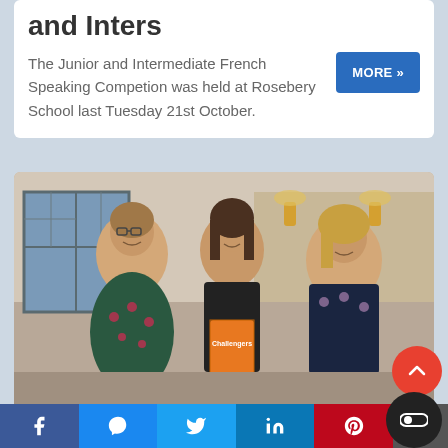and Inters
The Junior and Intermediate French Speaking Competion was held at Rosebery School last Tuesday 21st October.
[Figure (photo): Three women standing together indoors; the middle person holds an orange 'Challengers' pamphlet/book.]
Challengers Visit Rotary
Facebook | Messenger | Twitter | LinkedIn | Pinterest